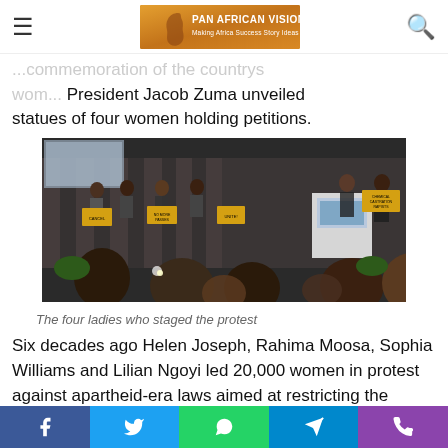Pan African Visions — Making Africa Success Story Ideas
...commemoration of the countrys women... President Jacob Zuma unveiled statues of four women holding petitions.
[Figure (photo): Panel of speakers on a stage at an event; four women in the audience hold up yellow signs with text. A podium with a logo is visible on the right side of the stage.]
The four ladies who staged the protest
Six decades ago Helen Joseph, Rahima Moosa, Sophia Williams and Lilian Ngoyi led 20,000 women in protest against apartheid-era laws aimed at restricting the movement of